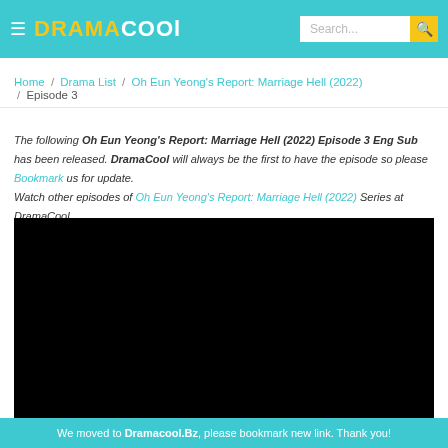DRAMACOOL
Home / Drama List / Oh Eun Yeong's Report: Marriage Hell (2022) / Episode 3
The following Oh Eun Yeong's Report: Marriage Hell (2022) Episode 3 Eng Sub has been released. DramaCool will always be the first to have the episode so please Bookmark us for update. Watch other episodes of Oh Eun Yeong's Report: Marriage Hell (2022) Series at DramaCool.
[Figure (other): Black video player area]
We moved to Dramacool.Bz, please bookmark new link. Thank you!